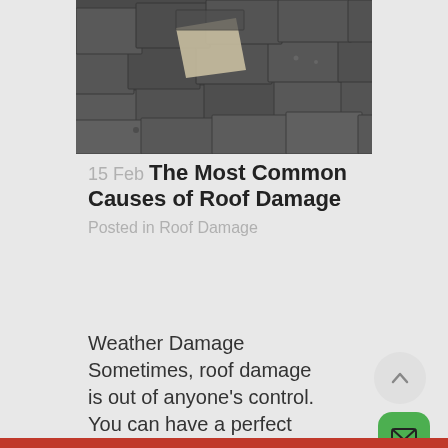[Figure (photo): Close-up photo of damaged roof shingles with missing pieces revealing the underlayment beneath]
15 Feb The Most Common Causes of Roof Damage
Posted in Roof Damage
Weather Damage Sometimes, roof damage is out of anyone's control. You can have a perfect roof